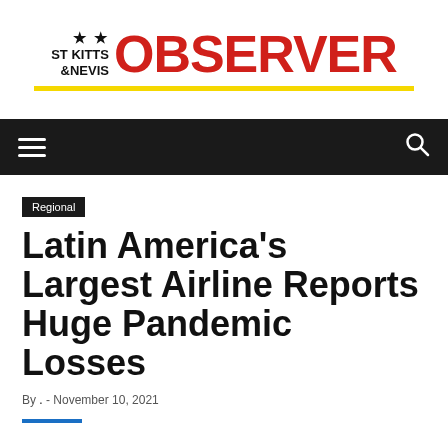[Figure (logo): St Kitts & Nevis Observer newspaper logo with two stars and red bold OBSERVER text, with yellow underline bar]
navigation bar with hamburger menu and search icon
Regional
Latin America's Largest Airline Reports Huge Pandemic Losses
By . - November 10, 2021